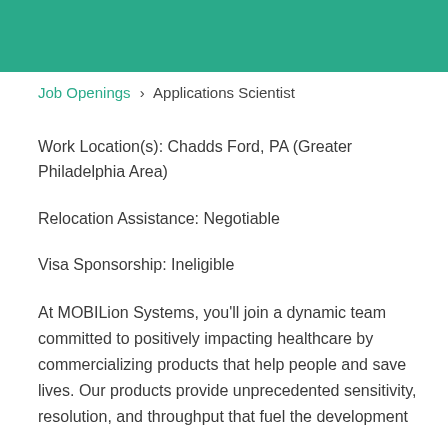[Figure (other): Teal/green header banner background image]
Job Openings > Applications Scientist
Work Location(s): Chadds Ford, PA (Greater Philadelphia Area)
Relocation Assistance: Negotiable
Visa Sponsorship: Ineligible
At MOBILion Systems, you'll join a dynamic team committed to positively impacting healthcare by commercializing products that help people and save lives. Our products provide unprecedented sensitivity, resolution, and throughput that fuel the development